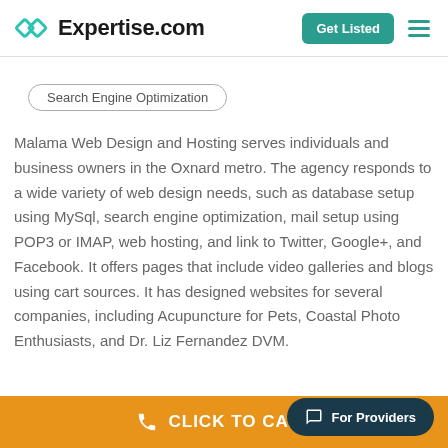Expertise.com — Get Listed
Search Engine Optimization
Malama Web Design and Hosting serves individuals and business owners in the Oxnard metro. The agency responds to a wide variety of web design needs, such as database setup using MySql, search engine optimization, mail setup using POP3 or IMAP, web hosting, and link to Twitter, Google+, and Facebook. It offers pages that include video galleries and blogs using cart sources. It has designed websites for several companies, including Acupuncture for Pets, Coastal Photo Enthusiasts, and Dr. Liz Fernandez DVM.
CLICK TO CALL
For Providers